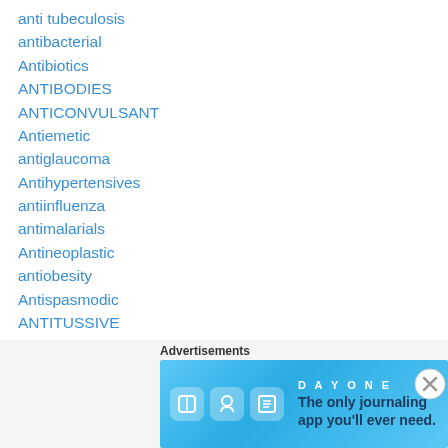anti tubeculosis
antibacterial
Antibiotics
ANTIBODIES
ANTICONVULSANT
Antiemetic
antiglaucoma
Antihypertensives
antiinfluenza
antimalarials
Antineoplastic
antiobesity
Antispasmodic
ANTITUSSIVE
Antiulcerative
Antivirals
[Figure (infographic): DAY ONE journaling app advertisement banner with blue background, icons and slogan: The only journaling app you'll ever need.]